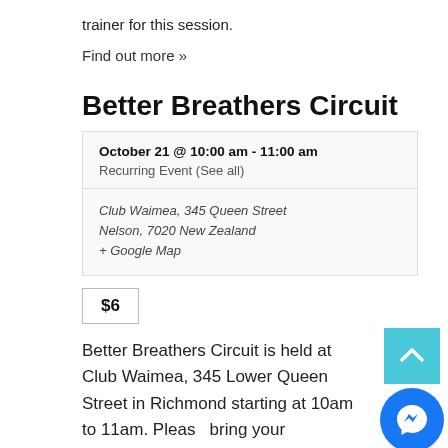trainer for this session.
Find out more »
Better Breathers Circuit
| October 21 @ 10:00 am - 11:00 am | Recurring Event (See all) |
| Club Waimea, 345 Queen Street
Nelson, 7020 New Zealand
+ Google Map |  |
$6
Better Breathers Circuit is held at Club Waimea, 345 Lower Queen Street in Richmond starting at 10am to 11am. Please bring your medication in case of emergency